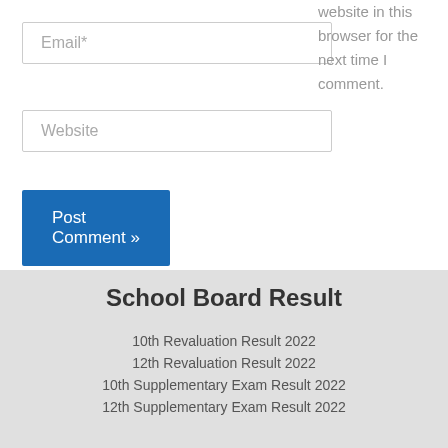Email*
Website
website in this browser for the next time I comment.
Post Comment »
School Board Result
10th Revaluation Result 2022
12th Revaluation Result 2022
10th Supplementary Exam Result 2022
12th Supplementary Exam Result 2022